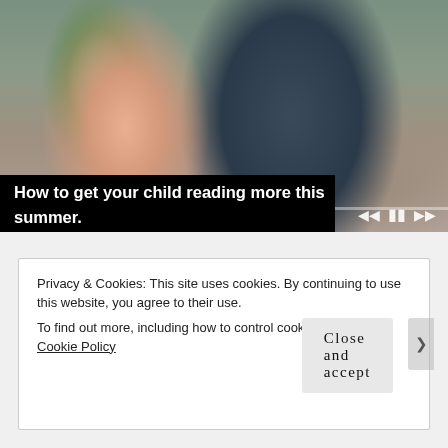[Figure (photo): Two children reading a book together — a baby wearing a green bow turban and a young boy in a dark shirt, sitting on a grey couch. Media player progress bar and transport controls (skip back, pause, skip forward) visible at the bottom of the image.]
How to get your child reading more this summer.
Privacy & Cookies: This site uses cookies. By continuing to use this website, you agree to their use.
To find out more, including how to control cookies, see here: Cookie Policy
Close and accept